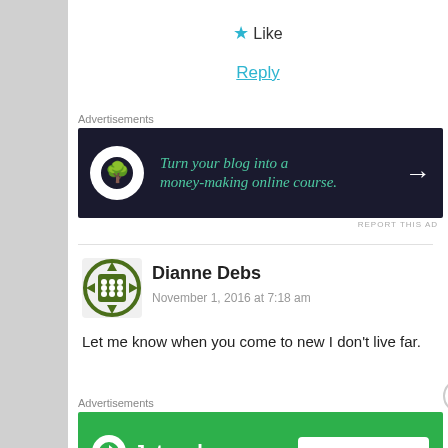★ Like
Reply
Advertisements
[Figure (infographic): Dark navy ad banner with bonsai tree logo circle and text 'Turn your blog into a money-making online course.' with arrow]
REPORT THIS AD
Dianne Debs
November 1, 2016 at 7:18 am
Let me know when you come to new I don't live far.
Advertisements
[Figure (infographic): Green Jetpack ad banner with logo and 'Secure Your Site' button]